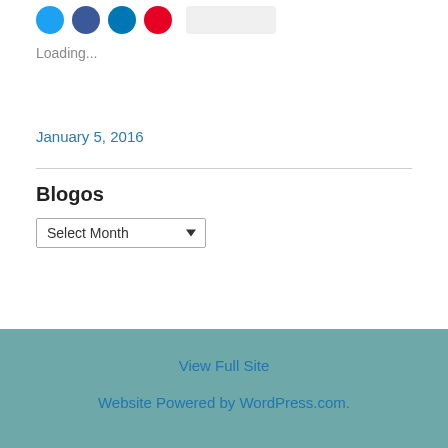[Figure (infographic): Row of social media icon circles: Twitter (blue), Facebook (dark blue), LinkedIn (light blue), Pinterest (red), and a button/element]
Loading...
January 5, 2016
Blogos
Select Month (dropdown)
View Full Site
Website Powered by WordPress.com.